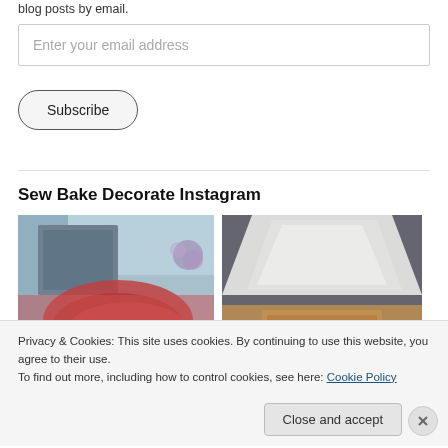blog posts by email.
Enter your email address
Subscribe
Sew Bake Decorate Instagram
[Figure (photo): Red drink in a bowl on a wooden surface with purple flowers and a dark frame in background]
[Figure (photo): White tissue paper/bag on a copper/brown box against a dark sofa background]
Privacy & Cookies: This site uses cookies. By continuing to use this website, you agree to their use.
To find out more, including how to control cookies, see here: Cookie Policy
Close and accept